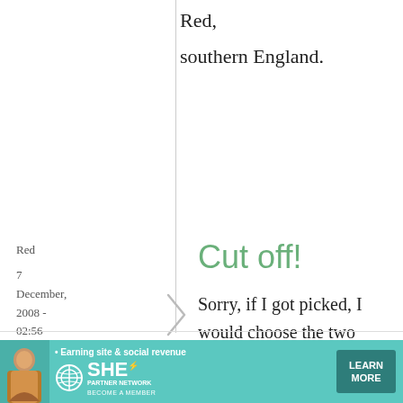Red,
southern England.
Red
7 December, 2008 - 02:56
permalink
Cut off!
Sorry, if I got picked, I would choose the two Japanese books.
Kristen
[Figure (infographic): SHE Partner Network advertisement banner: Earning site & social revenue, LEARN MORE button]